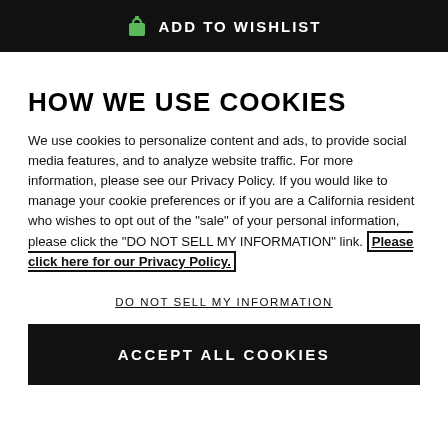ADD TO WISHLIST
HOW WE USE COOKIES
We use cookies to personalize content and ads, to provide social media features, and to analyze website traffic. For more information, please see our Privacy Policy. If you would like to manage your cookie preferences or if you are a California resident who wishes to opt out of the "sale" of your personal information, please click the "DO NOT SELL MY INFORMATION" link. Please click here for our Privacy Policy.
DO NOT SELL MY INFORMATION
ACCEPT ALL COOKIES